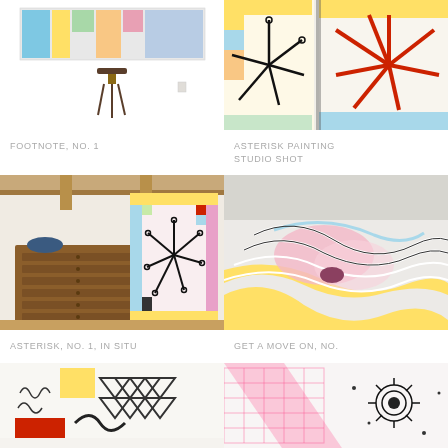[Figure (photo): Photo of artwork titled FOOTNOTE, NO. 1 - colorful horizontal painting on wall above a tripod stool]
FOOTNOTE, NO. 1
[Figure (photo): Photo of artwork titled ASTERISK PAINTING STUDIO SHOT - large colorful paintings with asterisk/starburst shapes in studio]
ASTERISK PAINTING STUDIO SHOT
[Figure (photo): Photo of artwork titled ASTERISK, NO. 1, IN SITU - colorful quilted asterisk painting hung in room with wooden furniture]
ASTERISK, NO. 1, IN SITU
[Figure (photo): Photo of artwork titled GET A MOVE ON, NO. - colorful topographic swirling pattern artwork]
GET A MOVE ON, NO.
[Figure (photo): Partial photo of artwork - geometric triangles and abstract shapes on white ground]
[Figure (photo): Partial photo of artwork - pink grid and spiral/starburst forms]